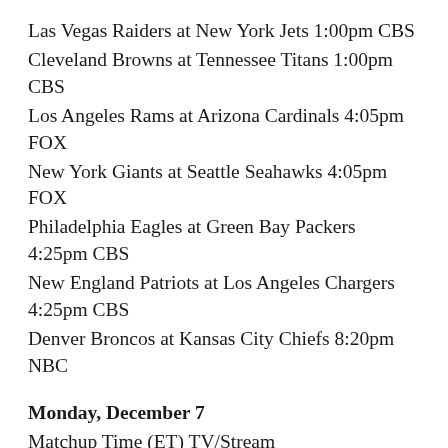Las Vegas Raiders at New York Jets 1:00pm CBS
Cleveland Browns at Tennessee Titans 1:00pm CBS
Los Angeles Rams at Arizona Cardinals 4:05pm FOX
New York Giants at Seattle Seahawks 4:05pm FOX
Philadelphia Eagles at Green Bay Packers 4:25pm CBS
New England Patriots at Los Angeles Chargers 4:25pm CBS
Denver Broncos at Kansas City Chiefs 8:20pm NBC
Monday, December 7
Matchup Time (ET) TV/Stream
Washington at Pittsburgh Steelers 5:00pm TV TBA
Buffalo Bills at San Francisco 49ers 8:15pm ESPN/ABC